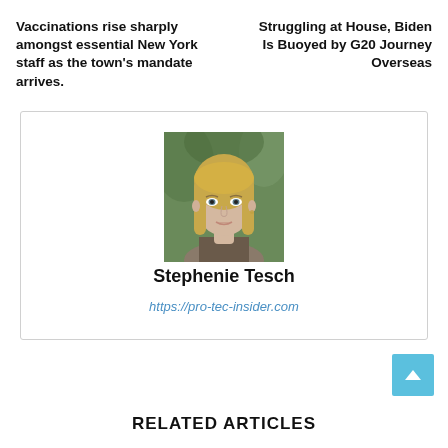Vaccinations rise sharply amongst essential New York staff as the town's mandate arrives.
Struggling at House, Biden Is Buoyed by G20 Journey Overseas
[Figure (photo): Portrait photo of a blonde woman looking at the camera, with blurred green background]
Stephenie Tesch
https://pro-tec-insider.com
RELATED ARTICLES